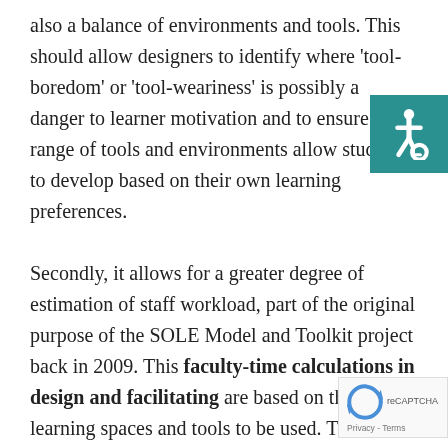also a balance of environments and tools. This should allow designers to identify where 'tool-boredom' or 'tool-weariness' is possibly a danger to learner motivation and to ensure that a range of tools and environments allow students to develop based on their own learning preferences.

Secondly, it allows for a greater degree of estimation of staff workload, part of the original purpose of the SOLE Model and Toolkit project back in 2009. This faculty-time calculations in design and facilitating are based on the learning spaces and tools to be used. This function allows programme designers and administrators, as well as designers themselves, to calculate the amount of time they are likely to
[Figure (other): Accessibility icon — white wheelchair symbol on teal/dark cyan square background, positioned top-right corner]
[Figure (other): reCAPTCHA badge with rotating arrows logo and 'Privacy - Terms' text, positioned bottom-right corner]